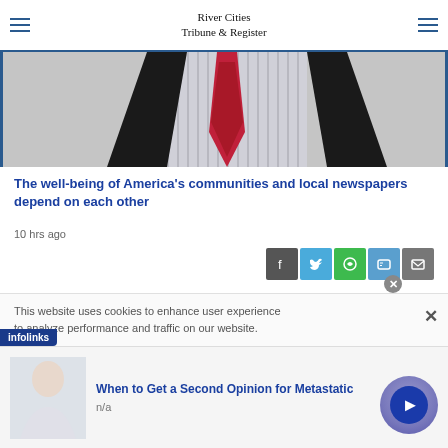River Cities Tribune & Register
[Figure (photo): Person in white striped shirt with red tie and dark jacket, cropped at chest level]
The well-being of America's communities and local newspapers depend on each other
10 hrs ago
Share buttons: Facebook, Twitter, WhatsApp, Chat, Email
This website uses cookies to enhance user experience to analyze performance and traffic on our website.
infolinks
When to Get a Second Opinion for Metastatic
n/a